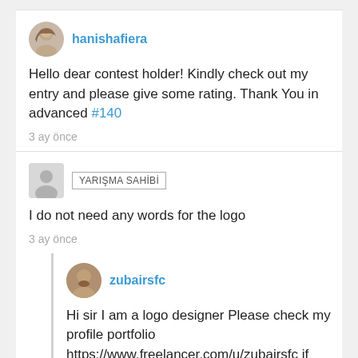hanishafiera
Hello dear contest holder! Kindly check out my entry and please give some rating. Thank You in advanced #140
3 ay önce
YARIŞMA SAHİBİ
I do not need any words for the logo
3 ay önce
zubairsfc
Hi sir I am a logo designer Please check my profile portfolio https://www.freelancer.com/u/zubairsfc if like